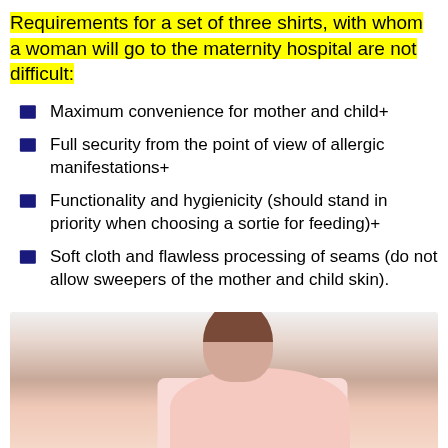Requirements for a set of three shirts, with whom a woman will go to the maternity hospital are not difficult:
Maximum convenience for mother and child+
Full security from the point of view of allergic manifestations+
Functionality and hygienicity (should stand in priority when choosing a sortie for feeding)+
Soft cloth and flawless processing of seams (do not allow sweepers of the mother and child skin).
[Figure (photo): Photo of a woman in a pink shirt, visible from the shoulders up, with hair pulled back, against a light background.]